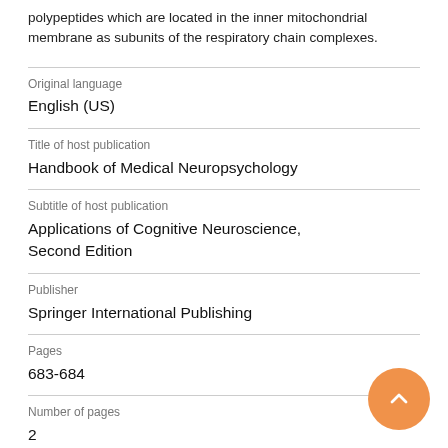polypeptides which are located in the inner mitochondrial membrane as subunits of the respiratory chain complexes.
Original language
English (US)
Title of host publication
Handbook of Medical Neuropsychology
Subtitle of host publication
Applications of Cognitive Neuroscience, Second Edition
Publisher
Springer International Publishing
Pages
683-684
Number of pages
2